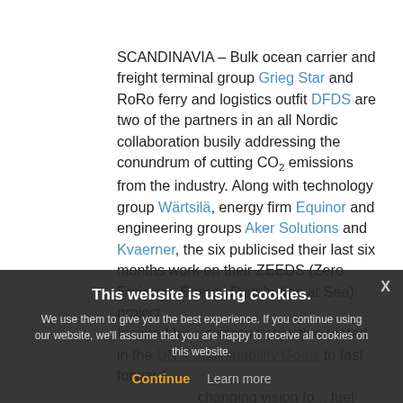SCANDINAVIA – Bulk ocean carrier and freight terminal group Grieg Star and RoRo ferry and logistics outfit DFDS are two of the partners in an all Nordic collaboration busily addressing the conundrum of cutting CO₂ emissions from the industry. Along with technology group Wärtsilä, energy firm Equinor and engineering groups Aker Solutions and Kvaerner, the six publicised their last six months work on their ZEEDS (Zero Emission Energy Distribution at Sea) project. Inspired by a common objective rooted in the UN's Sustainability Goals to fast forward... changing vision to... fuel bunkering infrastructure throughout Europe. The
This website is using cookies. We use them to give you the best experience. If you continue using our website, we'll assume that you are happy to receive all cookies on this website. Continue Learn more